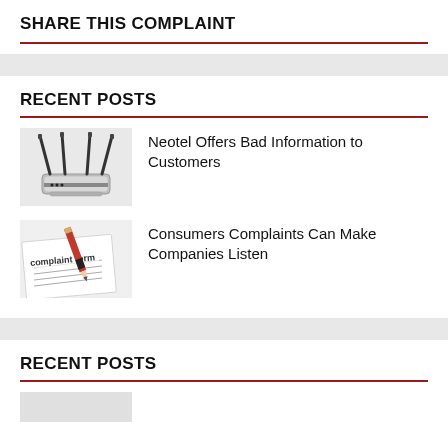SHARE THIS COMPLAINT
RECENT POSTS
[Figure (photo): Wireless router with multiple antennas]
Neotel Offers Bad Information to Customers
[Figure (photo): Complaint form with red pencil on top]
Consumers Complaints Can Make Companies Listen
RECENT POSTS